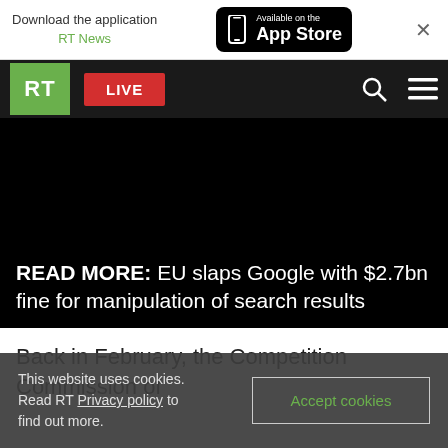Download the application RT News — Available on the App Store
[Figure (screenshot): RT News navigation bar with green RT logo, red LIVE button, search icon, and hamburger menu on dark background]
[Figure (screenshot): Black video player area with white text overlay reading: READ MORE: EU slaps Google with $2.7bn fine for manipulation of search results]
Back in February, the Competition Commission of
This website uses cookies. Read RT Privacy policy to find out more.